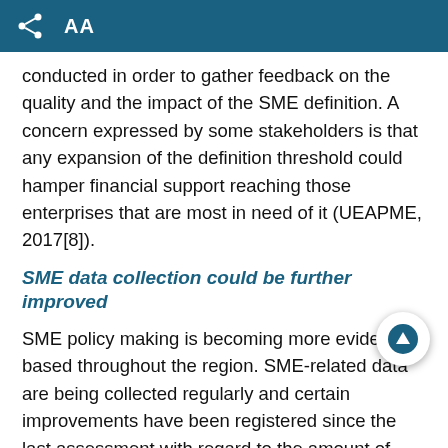AA
conducted in order to gather feedback on the quality and the impact of the SME definition. A concern expressed by some stakeholders is that any expansion of the definition threshold could hamper financial support reaching those enterprises that are most in need of it (UEAPME, 2017[8]).
SME data collection could be further improved
SME policy making is becoming more evidence-based throughout the region. SME-related data are being collected regularly and certain improvements have been registered since the last assessment with regard to the amount of data collected. Progress is also being made in terms of quality and availability of SME-specific data. However, some gaps in data collection still persist (Table 3.4).
Although all economies collect key business